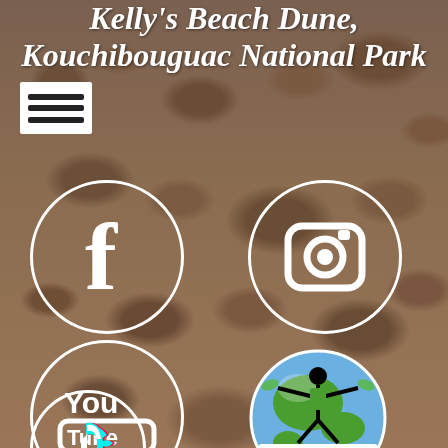Kelly's Beach Dune, Kouchibouguac National Park
[Figure (infographic): Social media icons on a rocky beach background: hamburger menu icon, Facebook circle, Instagram circle, YouTube circle, Podcast circle (kayaking globe logo), TikTok circle (partially visible at bottom)]